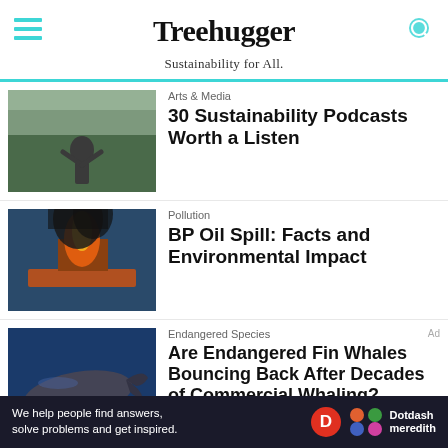Treehugger — Sustainability for All.
Arts & Media
30 Sustainability Podcasts Worth a Listen
[Figure (photo): Person standing with back to camera looking at misty forested landscape]
Pollution
BP Oil Spill: Facts and Environmental Impact
[Figure (photo): Oil platform fire with thick black smoke rising from ocean]
Endangered Species
Are Endangered Fin Whales Bouncing Back After Decades of Commercial Whaling?
[Figure (photo): Fin whale swimming underwater against blue background]
Ad
We help people find answers, solve problems and get inspired. Dotdash meredith